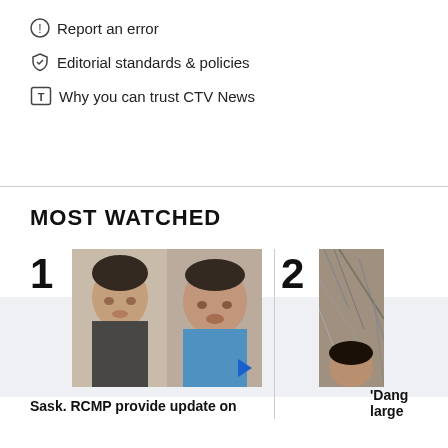Report an error
Editorial standards & policies
Why you can trust CTV News
MOST WATCHED
1
[Figure (photo): Two men side by side in police mugshot style photos]
Sask. RCMP provide update on
2
[Figure (photo): Partially visible image, second most watched item]
'Dang large